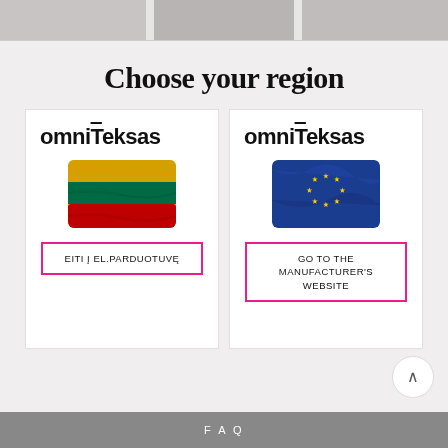[Figure (photo): Top strip showing partial images of clothing/fashion items on a light gray background]
Choose your region
[Figure (logo): omniTeksas logo for Lithuania region card with Lithuanian flag and button 'EITI Į EL.PARDUOTUVĘ']
[Figure (logo): omniTeksas logo for EU region card with EU flag and button 'GO TO THE MANUFACTURER'S WEBSITE']
F A Q